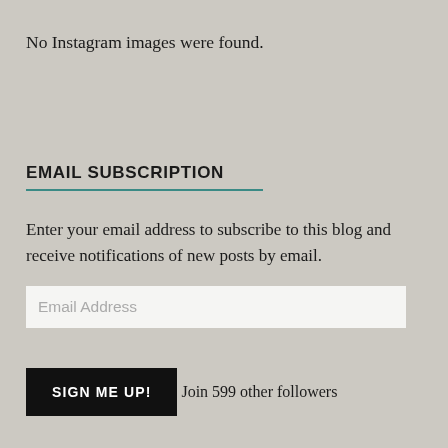No Instagram images were found.
EMAIL SUBSCRIPTION
Enter your email address to subscribe to this blog and receive notifications of new posts by email.
Email Address
SIGN ME UP!
Join 599 other followers